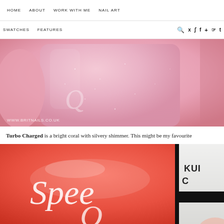HOME   ABOUT   WORK WITH ME   NAIL ART
SWATCHES   FEATURES   [search icon]   [social icons: twitter, instagram, facebook, plus, pinterest, tumblr]
[Figure (photo): Close-up photo of a pink shimmer nail polish bottle being held, with watermark text WWW.BRITNAILS.CO.UK at the bottom left]
Turbo Charged is a bright coral with silvery shimmer. This might be my favourite
[Figure (photo): Close-up photo of a coral/red nail polish bottle with white script lettering, partially showing text 'Speedy' and another product label showing 'QUICK']